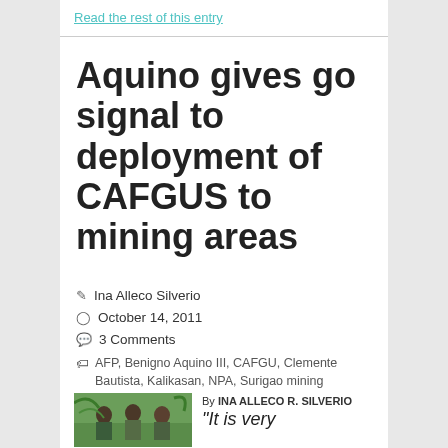Read the rest of this entry
Aquino gives go signal to deployment of CAFGUS to mining areas
Ina Alleco Silverio
October 14, 2011
3 Comments
AFP, Benigno Aquino III, CAFGU, Clemente Bautista, Kalikasan, NPA, Surigao mining corporations
[Figure (photo): Photo of military personnel in uniform standing outdoors with tropical vegetation in background]
By INA ALLECO R. SILVERIO
“It is very